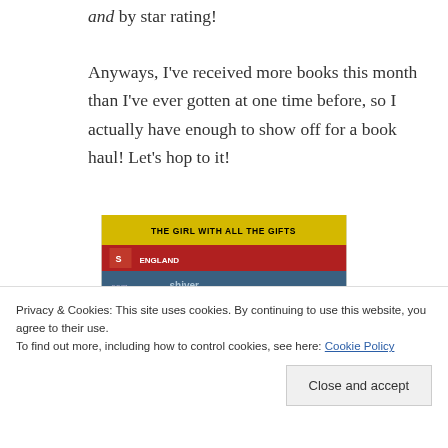and by star rating!
Anyways, I've received more books this month than I've ever gotten at one time before, so I actually have enough to show off for a book haul! Let's hop to it!
[Figure (photo): Stack of books photographed from above/side, including 'The Girl With All the Gifts' (yellow cover), a red-spined book, a blue book reading 'shiver', and a light-colored book at the bottom reading 'SELECTION']
Privacy & Cookies: This site uses cookies. By continuing to use this website, you agree to their use.
To find out more, including how to control cookies, see here: Cookie Policy
Close and accept